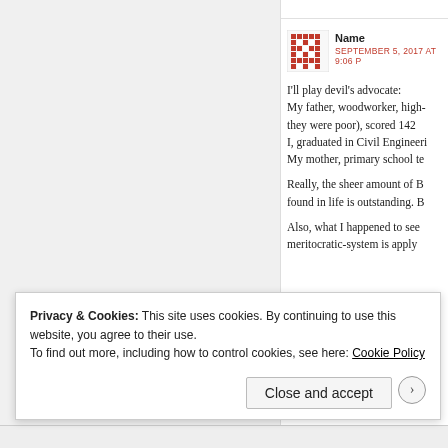[Figure (other): Red mosaic/pixel-art avatar icon for commenter]
Name
SEPTEMBER 5, 2017 AT 9:06 P
I'll play devil's advocate:
My father, woodworker, high- they were poor), scored 142
I, graduated in Civil Engineeri
My mother, primary school te
Really, the sheer amount of B found in life is outstanding. B
Also, what I happened to see meritocratic-system is apply
Privacy & Cookies: This site uses cookies. By continuing to use this website, you agree to their use.
To find out more, including how to control cookies, see here: Cookie Policy
Close and accept